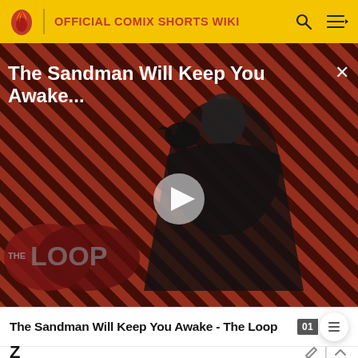OFFICIAL COMIX SHORTS WIKI
[Figure (screenshot): Video thumbnail showing a dark-cloaked figure (Sandman character) against a diagonal red and black striped background, with 'THE LOOP' logo in the lower left, an overlaid play button, and the title 'The Sandman Will Keep You Awake...' at the top left. A close (X) button is at top right.]
The Sandman Will Keep You Awake - The Loop
Z
Z (S... C... 3)